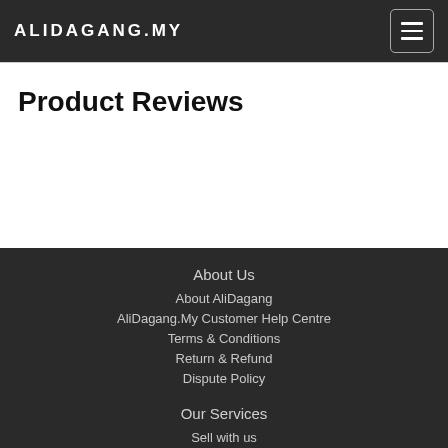ALIDAGANG.MY
Product Reviews
About Us
About AliDagang
AliDagang.My Customer Help Centre
Terms & Conditions
Return & Refund
Dispute Policy
Our Services
Sell with us